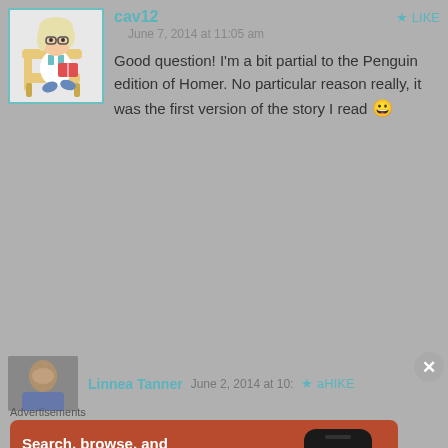[Figure (illustration): Avatar of user cav12 - cartoon woman sitting and reading a book, with teal border]
cav12
LIKE
June 7, 2014 at 11:05 am
Good question! I'm a bit partial to the Penguin edition of Homer. No particular reason really, it was the first version of the story I read 😀
[Figure (photo): Profile photo of Linnea Tanner]
Linnea Tanner   June 2, 2014 at 10:  ★ aHIKE
Advertisements
[Figure (screenshot): DuckDuckGo advertisement: Search, browse, and email with more privacy. All in One Free App. Shows a phone with DuckDuckGo logo.]